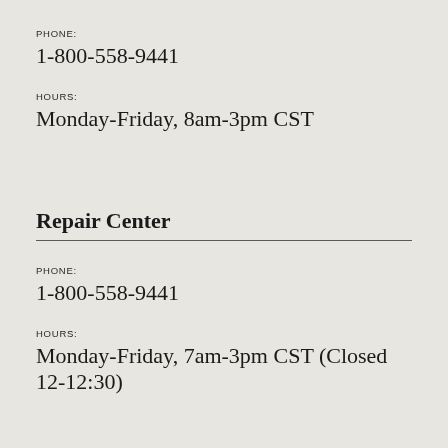PHONE:
1-800-558-9441
HOURS:
Monday-Friday, 8am-3pm CST
Repair Center
PHONE:
1-800-558-9441
HOURS:
Monday-Friday, 7am-3pm CST (Closed 12-12:30)